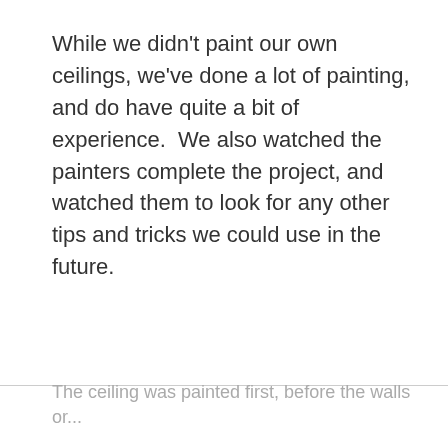While we didn't paint our own ceilings, we've done a lot of painting, and do have quite a bit of experience.  We also watched the painters complete the project, and watched them to look for any other tips and tricks we could use in the future.
The ceiling was painted first, before the walls or...